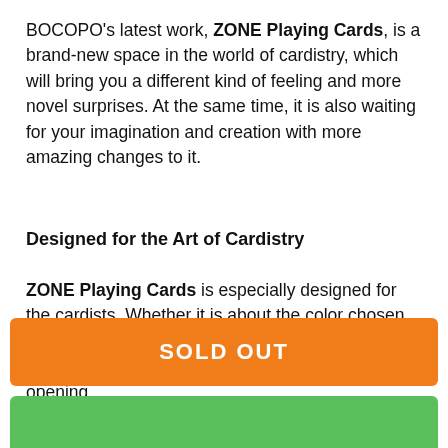BOCOPO's latest work, ZONE Playing Cards, is a brand-new space in the world of cardistry, which will bring you a different kind of feeling and more novel surprises. At the same time, it is also waiting for your imagination and creation with more amazing changes to it.
Designed for the Art of Cardistry
ZONE Playing Cards is especially designed for the cardists. Whether it is about the color chosen or pattern designed, it's specially designed to maximize the cardistry performance. The two-way opening
[Figure (other): Orange 'SOLD OUT' button]
[Figure (other): Green button (empty)]